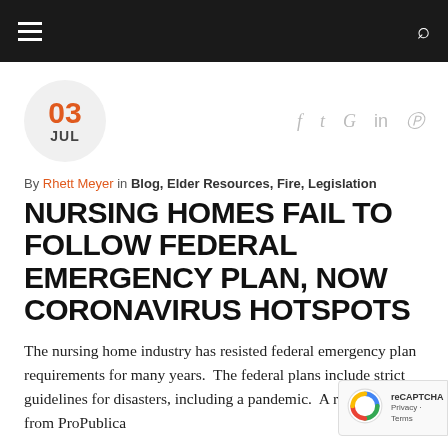Navigation bar with hamburger menu and search icon
03 JUL
By Rhett Meyer in Blog, Elder Resources, Fire, Legislation
NURSING HOMES FAIL TO FOLLOW FEDERAL EMERGENCY PLAN, NOW CORONAVIRUS HOTSPOTS
The nursing home industry has resisted federal emergency plan requirements for many years.  The federal plans include strict guidelines for disasters, including a pandemic.  A recent report from ProPublica